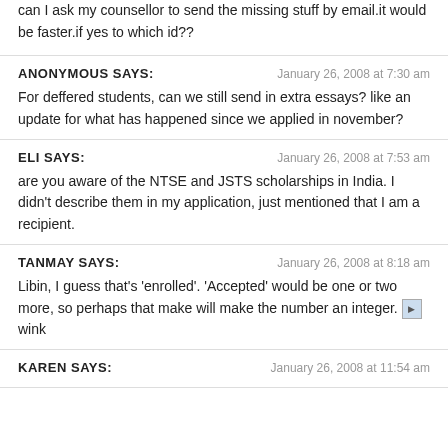can I ask my counsellor to send the missing stuff by email.it would be faster.if yes to which id??
ANONYMOUS SAYS: January 26, 2008 at 7:30 am
For deffered students, can we still send in extra essays? like an update for what has happened since we applied in november?
ELI SAYS: January 26, 2008 at 7:53 am
are you aware of the NTSE and JSTS scholarships in India. I didn't describe them in my application, just mentioned that I am a recipient.
TANMAY SAYS: January 26, 2008 at 8:18 am
Libin, I guess that's 'enrolled'. 'Accepted' would be one or two more, so perhaps that make will make the number an integer. [wink]
KAREN SAYS: January 26, 2008 at 11:54 am